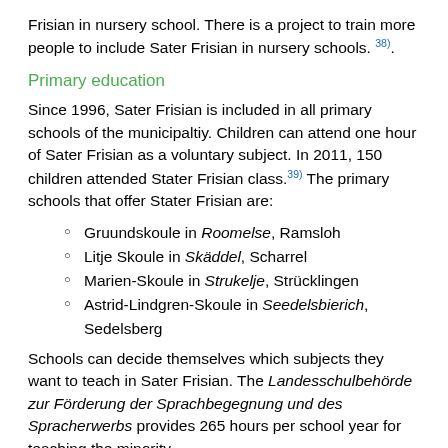Frisian in nursery school. There is a project to train more people to include Sater Frisian in nursery schools. 38).
Primary education
Since 1996, Sater Frisian is included in all primary schools of the municipaltiy. Children can attend one hour of Sater Frisian as a voluntary subject. In 2011, 150 children attended Stater Frisian class.39) The primary schools that offer Stater Frisian are:
Gruundskoule in Roomelse, Ramsloh
Litje Skoule in Skäddel, Scharrel
Marien-Skoule in Strukelje, Strücklingen
Astrid-Lindgren-Skoule in Seedelsbierich, Sedelsberg
Schools can decide themselves which subjects they want to teach in Sater Frisian. The Landesschulbehörde zur Förderung der Sprachbegegnung und des Spracherwerbs provides 265 hours per school year for teaching the minority